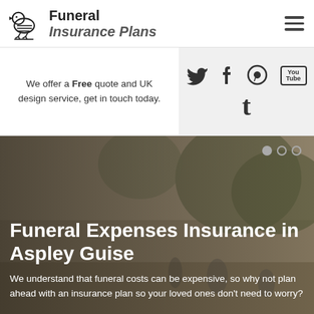[Figure (logo): Funeral Insurance Plans logo with a stylized bird icon on the left and bold text 'Funeral Insurance Plans' on the right]
We offer a Free quote and UK design service, get in touch today.
[Figure (infographic): Social media icons: Twitter bird, Facebook f, Pinterest P, YouTube box, and Tumblr t]
Funeral Expenses Insurance in Aspley Guise
We understand that funeral costs can be expensive, so why not plan ahead with an insurance plan so your loved ones don't need to worry?